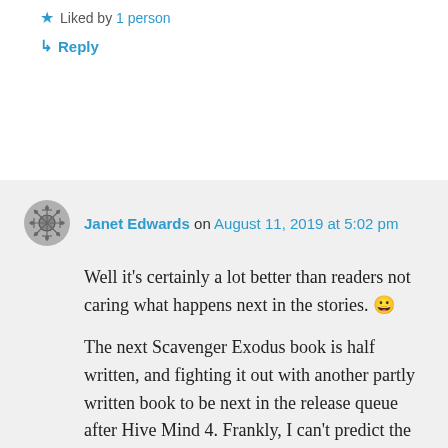★ Liked by 1 person
↳ Reply
Janet Edwards on August 11, 2019 at 5:02 pm
Well it's certainly a lot better than readers not caring what happens next in the stories. 😀
The next Scavenger Exodus book is half written, and fighting it out with another partly written book to be next in the release queue after Hive Mind 4. Frankly, I can't predict the outcome of that fight. I'm merely the author, cowering on the sidelines, waiting to see which set of characters start